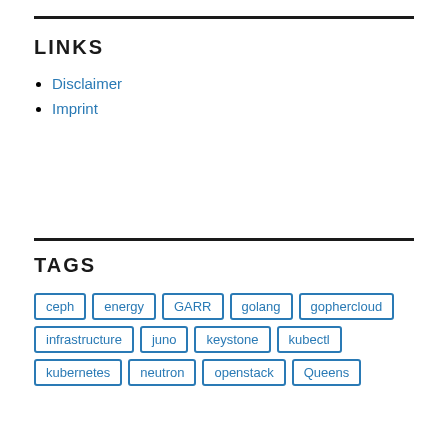LINKS
Disclaimer
Imprint
TAGS
ceph
energy
GARR
golang
gophercloud
infrastructure
juno
keystone
kubectl
kubernetes
neutron
openstack
Queens